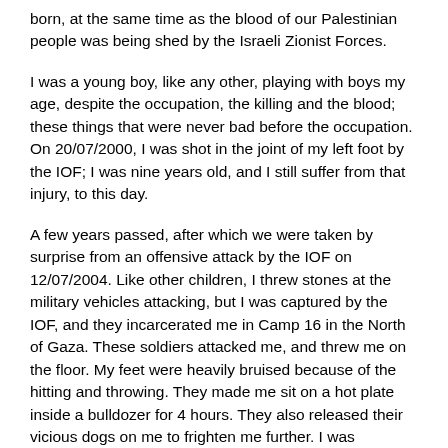born, at the same time as the blood of our Palestinian people was being shed by the Israeli Zionist Forces.
I was a young boy, like any other, playing with boys my age, despite the occupation, the killing and the blood; these things that were never bad before the occupation. On 20/07/2000, I was shot in the joint of my left foot by the IOF; I was nine years old, and I still suffer from that injury, to this day.
A few years passed, after which we were taken by surprise from an offensive attack by the IOF on 12/07/2004. Like other children, I threw stones at the military vehicles attacking, but I was captured by the IOF, and they incarcerated me in Camp 16 in the North of Gaza. These soldiers attacked me, and threw me on the floor. My feet were heavily bruised because of the hitting and throwing. They made me sit on a hot plate inside a bulldozer for 4 hours. They also released their vicious dogs on me to frighten me further. I was subjected to torture, feeling imminent death. At one time, they put a white piece of cloth over my eyes, and announced that they were about to shoot me dead. They then took me to another room and fired 3 or 4 live shots around my feet.